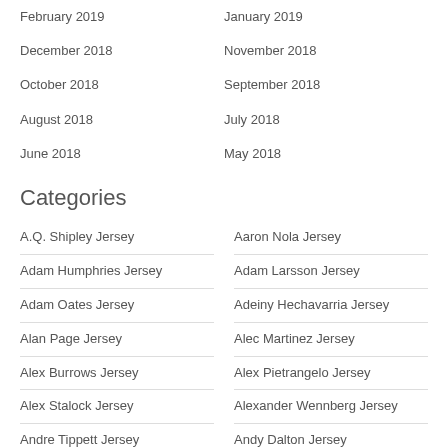February 2019
January 2019
December 2018
November 2018
October 2018
September 2018
August 2018
July 2018
June 2018
May 2018
Categories
A.Q. Shipley Jersey
Aaron Nola Jersey
Adam Humphries Jersey
Adam Larsson Jersey
Adam Oates Jersey
Adeiny Hechavarria Jersey
Alan Page Jersey
Alec Martinez Jersey
Alex Burrows Jersey
Alex Pietrangelo Jersey
Alex Stalock Jersey
Alexander Wennberg Jersey
Andre Tippett Jersey
Andy Dalton Jersey
Andy Greene Jersey
Andy Janovich Jersey